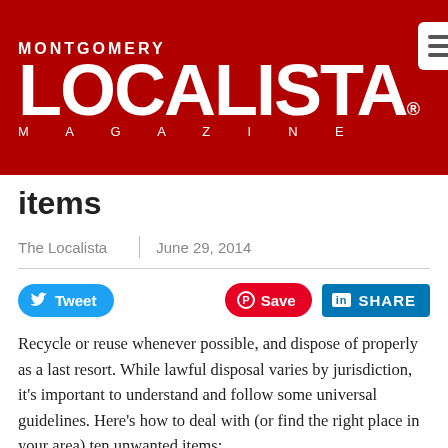[Figure (logo): Montgomery Localista Magazine logo in white text on dark red background, with menu icon in top right corner]
items
The Localista   June 29, 2014
[Figure (infographic): Social sharing buttons: Tweet (blue), Save (red Pinterest), SHARE (blue LinkedIn)]
Recycle or reuse whenever possible, and dispose of properly as a last resort. While lawful disposal varies by jurisdiction, it's important to understand and follow some universal guidelines. Here's how to deal with (or find the right place in your area) ten unwanted items:
1. MEDICATIONS - Do not flush unless packaging
Do not flush unless packaging